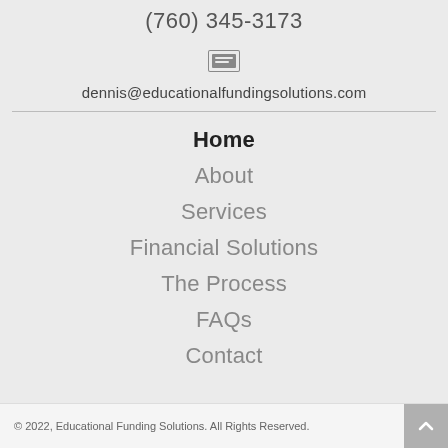(760) 345-3173
[Figure (illustration): Email envelope icon]
dennis@educationalfundingsolutions.com
Home
About
Services
Financial Solutions
The Process
FAQs
Contact
© 2022, Educational Funding Solutions. All Rights Reserved.